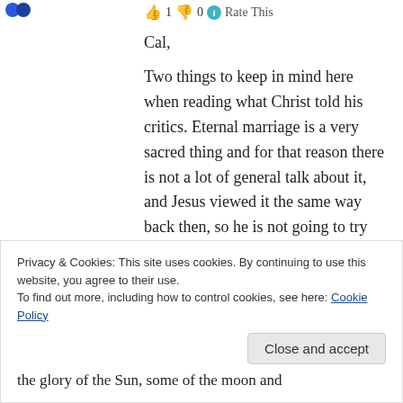[Figure (logo): Small blue logo mark in upper left corner]
👍 1 👎 0 ℹ Rate This
Cal,
Two things to keep in mind here when reading what Christ told his critics. Eternal marriage is a very sacred thing and for that reason there is not a lot of general talk about it, and Jesus viewed it the same way back then, so he is not going to try and get into the details with those trying to find fault with his teachings. So it was sufficient for
Privacy & Cookies: This site uses cookies. By continuing to use this website, you agree to their use.
To find out more, including how to control cookies, see here: Cookie Policy
Close and accept
the glory of the Sun, some of the moon and